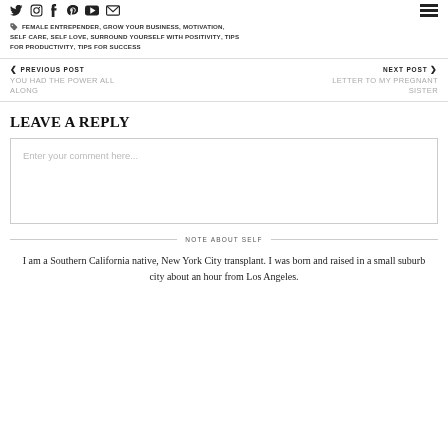Social icons: Twitter, Instagram, Facebook, Pinterest, YouTube, Email | Hamburger menu
FEMALE ENTREPENDER, GROW YOUR BUSINESS, MOTIVATION, SELF CARE, SELF LOVE, SURROUND YOURSELF WITH POSITIVITY, TIPS FOR PRODUCTIVITY, TIPS FOR SUCCESS
< PREVIOUS POST
YOU HAD THE POWER ALL ALONG

NEXT POST >
LETTER TO MY PREGNANT SISTER
LEAVE A REPLY
Enter your comment here...
NOTE ABOUT SELF
I am a Southern California native, New York City transplant. I was born and raised in a small suburb city about an hour from Los Angeles.